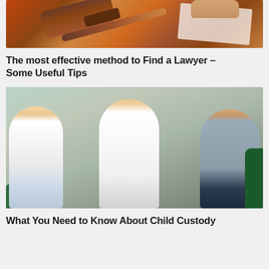[Figure (photo): Photo of a judge's gavel on a wooden surface with papers and a hand in the background]
The most effective method to Find a Lawyer – Some Useful Tips
[Figure (photo): Photo of two parents arguing while a young child stands between them holding a teddy bear, viewed from behind]
What You Need to Know About Child Custody